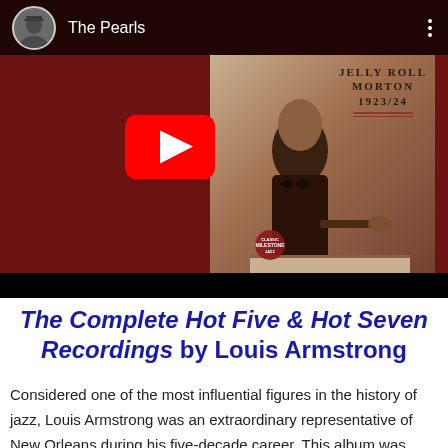[Figure (screenshot): YouTube video thumbnail showing a Jelly Roll Morton 1923/24 album cover with a man in a suit playing piano. The YouTube interface shows the channel avatar (a man in a hat), the title 'The Pearls', a three-dot menu icon, and a red YouTube play button overlay in the center. The background is dark red/maroon.]
The Complete Hot Five & Hot Seven Recordings by Louis Armstrong
Considered one of the most influential figures in the history of jazz, Louis Armstrong was an extraordinary representative of New Orleans during his five-decade career. This album was